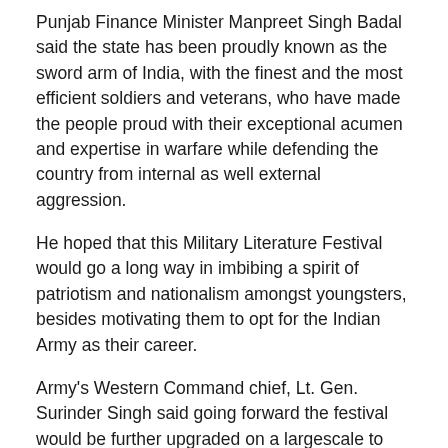Punjab Finance Minister Manpreet Singh Badal said the state has been proudly known as the sword arm of India, with the finest and the most efficient soldiers and veterans, who have made the people proud with their exceptional acumen and expertise in warfare while defending the country from internal as well external aggression.
He hoped that this Military Literature Festival would go a long way in imbibing a spirit of patriotism and nationalism amongst youngsters, besides motivating them to opt for the Indian Army as their career.
Army's Western Command chief, Lt. Gen. Surinder Singh said going forward the festival would be further upgraded on a largescale to elicit maximum participation of the military academia and experts from across the country to make civilians aware of the military's glorious past.
He said it was the need of the hour to educate people about the defence preparedness of the country.
The two-day Military Literature Festival is being organised jointly by the Punjab government, the Chandigarh Administration and the